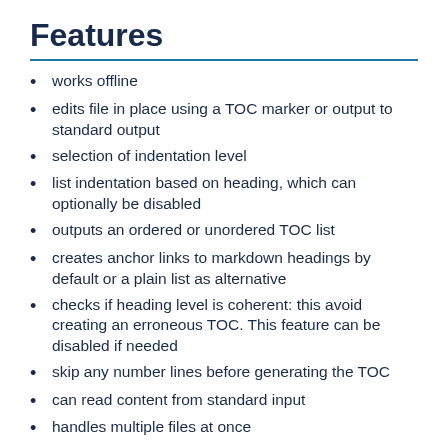Features
works offline
edits file in place using a TOC marker or output to standard output
selection of indentation level
list indentation based on heading, which can optionally be disabled
outputs an ordered or unordered TOC list
creates anchor links to markdown headings by default or a plain list as alternative
checks if heading level is coherent: this avoid creating an erroneous TOC. This feature can be disabled if needed
skip any number lines before generating the TOC
can read content from standard input
handles multiple files at once
selection of newline string
selection of list marker
supports GitHub, GitLab, Commonmark, Redcarpet and others
pre-commit hook